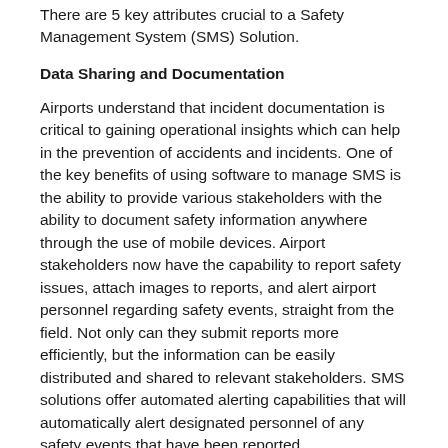There are 5 key attributes crucial to a Safety Management System (SMS) Solution.
Data Sharing and Documentation
Airports understand that incident documentation is critical to gaining operational insights which can help in the prevention of accidents and incidents. One of the key benefits of using software to manage SMS is the ability to provide various stakeholders with the ability to document safety information anywhere through the use of mobile devices. Airport stakeholders now have the capability to report safety issues, attach images to reports, and alert airport personnel regarding safety events, straight from the field. Not only can they submit reports more efficiently, but the information can be easily distributed and shared to relevant stakeholders. SMS solutions offer automated alerting capabilities that will automatically alert designated personnel of any safety events that have been reported.